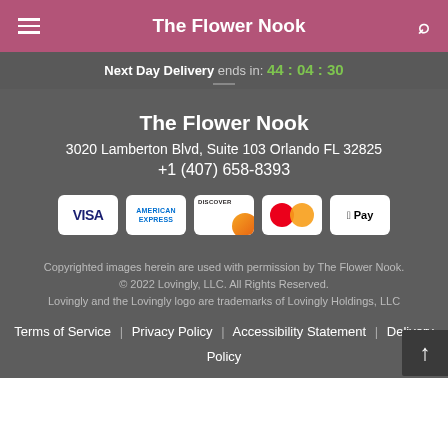The Flower Nook
Next Day Delivery ends in: 44 : 04 : 30
The Flower Nook
3020 Lamberton Blvd, Suite 103 Orlando FL 32825
+1 (407) 658-8393
[Figure (logo): Payment method icons: Visa, American Express, Discover, Mastercard, Apple Pay]
Copyrighted images herein are used with permission by The Flower Nook.
© 2022 Lovingly, LLC. All Rights Reserved.
Lovingly and the Lovingly logo are trademarks of Lovingly Holdings, LLC
Terms of Service | Privacy Policy | Accessibility Statement | Delivery Policy